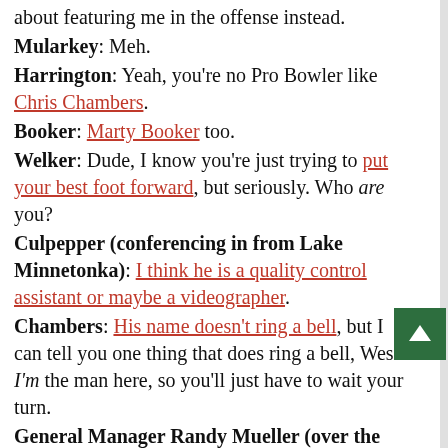about featuring me in the offense instead.
Mularkey: Meh.
Harrington: Yeah, you're no Pro Bowler like Chris Chambers.
Booker: Marty Booker too.
Welker: Dude, I know you're just trying to put your best foot forward, but seriously. Who are you?
Culpepper (conferencing in from Lake Minnetonka): I think he is a quality control assistant or maybe a videographer.
Chambers: His name doesn't ring a bell, but I can tell you one thing that does ring a bell, Wes. I'm the man here, so you'll just have to wait your turn.
General Manager Randy Mueller (over the loud speaker): Hey, pipe it down in there! I need to fo Nick Saban's in my office talking out of both sid of his mouth. Besides, if the right side of his mouth is the one telling the truth, then none of what you're arguing about will matter. I'll be in charge,